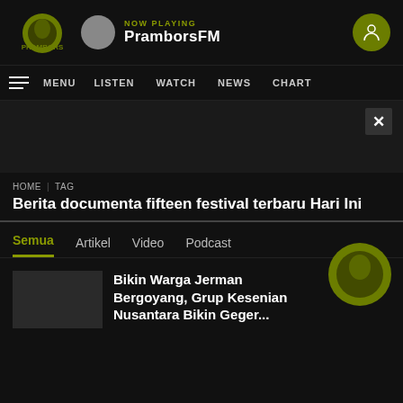NOW PLAYING PramborsFM
MENU  LISTEN  WATCH  NEWS  CHART
HOME | TAG
Berita documenta fifteen festival terbaru Hari Ini
Semua
Artikel
Video
Podcast
Bikin Warga Jerman Bergoyang, Grup Kesenian Nusantara Bikin Geger...